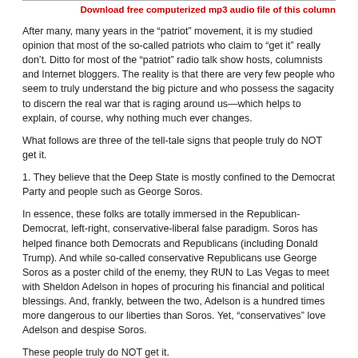Download free computerized mp3 audio file of this column
After many, many years in the “patriot” movement, it is my studied opinion that most of the so-called patriots who claim to “get it” really don’t. Ditto for most of the “patriot” radio talk show hosts, columnists and Internet bloggers. The reality is that there are very few people who seem to truly understand the big picture and who possess the sagacity to discern the real war that is raging around us—which helps to explain, of course, why nothing much ever changes.
What follows are three of the tell-tale signs that people truly do NOT get it.
1. They believe that the Deep State is mostly confined to the Democrat Party and people such as George Soros.
In essence, these folks are totally immersed in the Republican-Democrat, left-right, conservative-liberal false paradigm. Soros has helped finance both Democrats and Republicans (including Donald Trump). And while so-called conservative Republicans use George Soros as a poster child of the enemy, they RUN to Las Vegas to meet with Sheldon Adelson in hopes of procuring his financial and political blessings. And, frankly, between the two, Adelson is a hundred times more dangerous to our liberties than Soros. Yet, “conservatives” love Adelson and despise Soros.
These people truly do NOT get it.